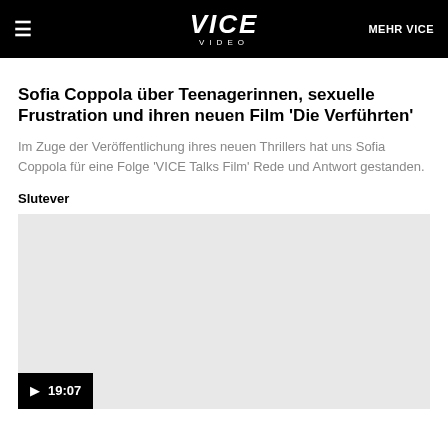VICE VIDEO — MEHR VICE
Sofia Coppola über Teenagerinnen, sexuelle Frustration und ihren neuen Film 'Die Verführten'
Im Zuge der Veröffentlichung ihres neuen Thrillers hat uns Sofia Coppola für eine Folge 'VICE Talks Film' Rede und Antwort gestanden.
Slutever
[Figure (screenshot): Video thumbnail placeholder — grey rectangle with play button controls showing 19:07 duration at the bottom left]